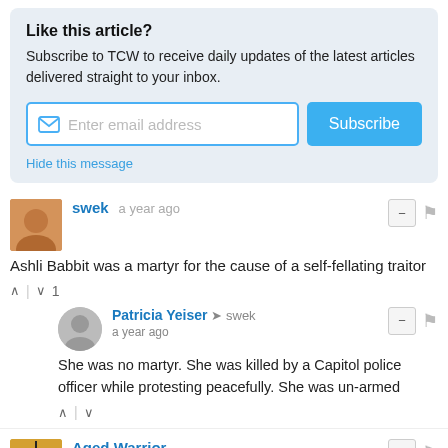Like this article?
Subscribe to TCW to receive daily updates of the latest articles delivered straight to your inbox.
Hide this message
swek • a year ago
Ashli Babbit was a martyr for the cause of a self-fellating traitor
Patricia Yeiser → swek • a year ago
She was no martyr. She was killed by a Capitol police officer while protesting peacefully. She was un-armed
Aged Warrior • a year ago